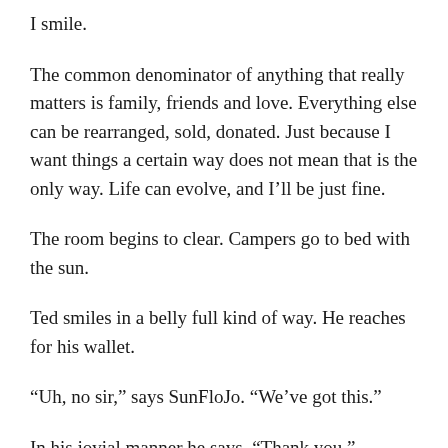I smile.
The common denominator of anything that really matters is family, friends and love. Everything else can be rearranged, sold, donated. Just because I want things a certain way does not mean that is the only way. Life can evolve, and I'll be just fine.
The room begins to clear. Campers go to bed with the sun.
Ted smiles in a belly full kind of way. He reaches for his wallet.
“Uh, no sir,” says SunFloJo. “We’ve got this.”
In his jovial manner he says, “Thank you.”